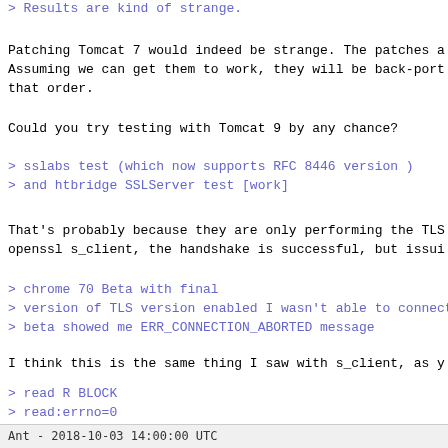> Results are kind of strange.
Patching Tomcat 7 would indeed be strange. The patches a
Assuming we can get them to work, they will be back-port
that order.
Could you try testing with Tomcat 9 by any chance?
> sslabs test (which now supports RFC 8446 version )
> and htbridge SSLServer test [work]
That's probably because they are only performing the TLS
openssl s_client, the handshake is successful, but issui
> chrome 70 Beta with final
> version of TLS version enabled I wasn't able to connect to
> beta showed me ERR_CONNECTION_ABORTED message
I think this is the same thing I saw with s_client, as y
> read R BLOCK
> read:errno=0
I think this is a bug in Tomcat which is triggered by so
Ant - 2018-10-03 14:00:00 UTC